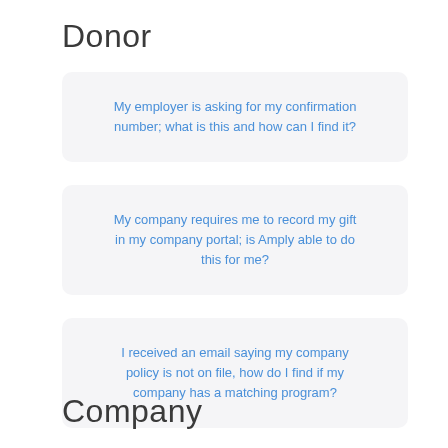Donor
My employer is asking for my confirmation number; what is this and how can I find it?
My company requires me to record my gift in my company portal; is Amply able to do this for me?
I received an email saying my company policy is not on file, how do I find if my company has a matching program?
Company